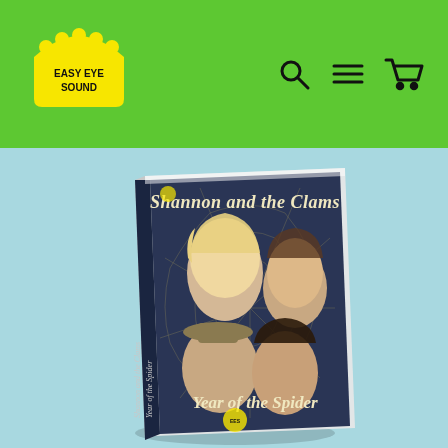[Figure (logo): Easy Eye Sound logo — yellow crown with dots above text on green background]
[Figure (photo): A cassette tape product for 'Shannon and the Clams - Year of the Spider' showing illustrated band members against a dark navy background with spider web design, displayed at an angle on a light blue background]